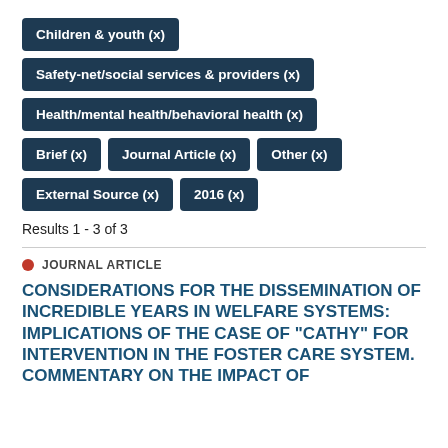Children & youth (x)
Safety-net/social services & providers (x)
Health/mental health/behavioral health (x)
Brief (x)
Journal Article (x)
Other (x)
External Source (x)
2016 (x)
Results 1 - 3 of 3
JOURNAL ARTICLE
CONSIDERATIONS FOR THE DISSEMINATION OF INCREDIBLE YEARS IN WELFARE SYSTEMS: IMPLICATIONS OF THE CASE OF "CATHY" FOR INTERVENTION IN THE FOSTER CARE SYSTEM. COMMENTARY ON THE IMPACT OF